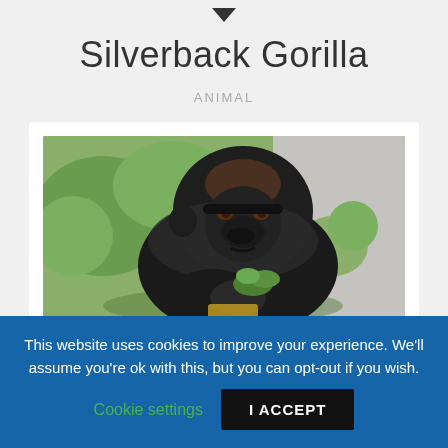[Figure (other): Small heart/bookmark icon at top center]
Silverback Gorilla
ANIMAL
[Figure (photo): Photo of a silverback gorilla sitting and eating green leaves, with green foliage and a concrete wall in the background]
This website uses cookies to improve your experience. We'll assume you're ok with this, but you can opt-out if you wish.  Cookie settings  I ACCEPT